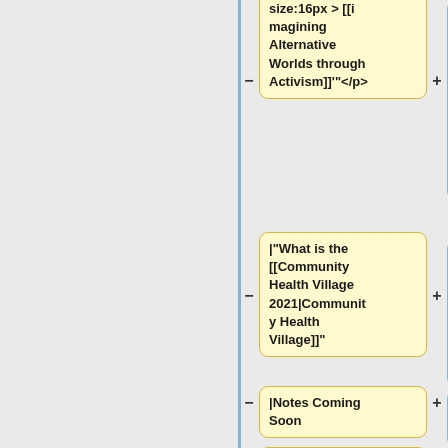size:16px > [[Imagining Alternative Worlds through Activism]]'"</p>
|"What is the [[Community Health Village 2021|Community Health Village]]"
|Notes Coming Soon
|Join transdisciplinary designers Nour Abou-Jaoude, Julia W. Szagdaj, and Anna Lathrop, as they take us